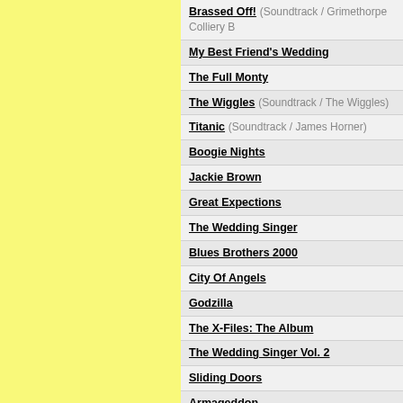Brassed Off! (Soundtrack / Grimethorpe Colliery B)
My Best Friend's Wedding
The Full Monty
The Wiggles (Soundtrack / The Wiggles)
Titanic (Soundtrack / James Horner)
Boogie Nights
Jackie Brown
Great Expections
The Wedding Singer
Blues Brothers 2000
City Of Angels
Godzilla
The X-Files: The Album
The Wedding Singer Vol. 2
Sliding Doors
Armageddon
Back To Titanic (Soundtrack / James Horner)
Can't Hardly Wait
Blade
54
South Park - Chef Aid
You've Got M@il
Practical Magic